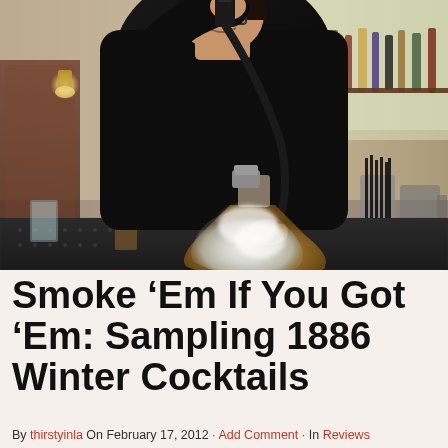[Figure (photo): A bartender holding a smoking gun device over a glass Erlenmeyer flask filled with a smoky cocktail at a bar counter. The bar background shows bottles and bar equipment. The flask glows with yellow/white smoke inside.]
Smoke ‘Em If You Got ‘Em: Sampling 1886 Winter Cocktails
By thirstyinla On February 17, 2012 · Add Comment · In Reviews